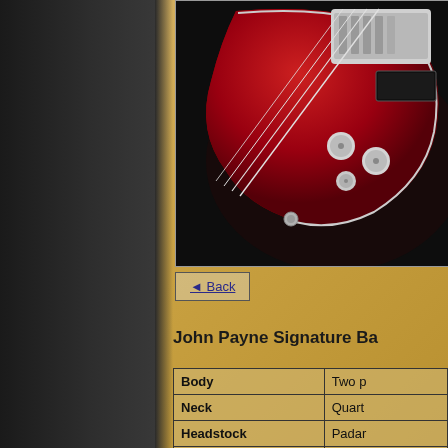[Figure (photo): Close-up photo of a red electric bass guitar body showing bridge, pickups, and control knobs against dark background]
◄ Back
John Payne Signature Ba...
|  |  |
| --- | --- |
| Body | Two p... |
| Neck | Quart... |
| Headstock | Padar... |
| Scale | 34 inc... |